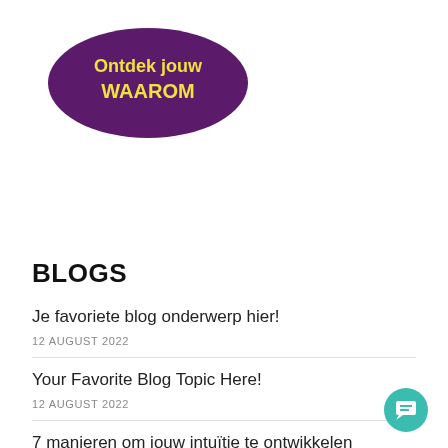[Figure (illustration): Purple oval/ellipse badge with yellow bold text 'Ontdek jouw WAAROM' centered inside]
BLOGS
Je favoriete blog onderwerp hier!
12 AUGUST 2022
Your Favorite Blog Topic Here!
12 AUGUST 2022
7 manieren om jouw intuïtie te ontwikkelen
29 JULY 2022
[Figure (illustration): Teal circular chat button in bottom right corner with white speech bubble / message icon]